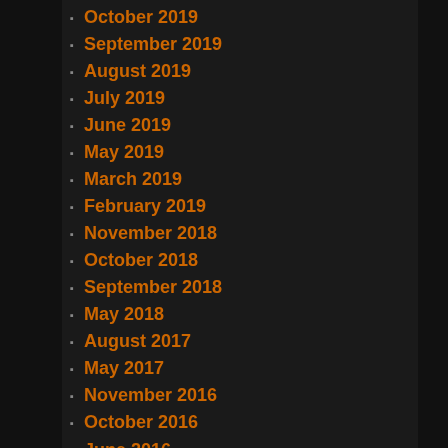October 2019
September 2019
August 2019
July 2019
June 2019
May 2019
March 2019
February 2019
November 2018
October 2018
September 2018
May 2018
August 2017
May 2017
November 2016
October 2016
June 2016
January 2016
November 2015
August 2015
July 2015